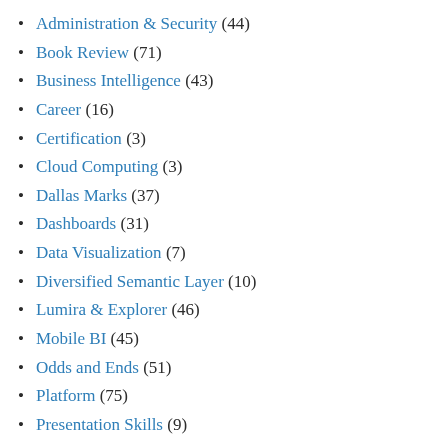Administration & Security (44)
Book Review (71)
Business Intelligence (43)
Career (16)
Certification (3)
Cloud Computing (3)
Dallas Marks (37)
Dashboards (31)
Data Visualization (7)
Diversified Semantic Layer (10)
Lumira & Explorer (46)
Mobile BI (45)
Odds and Ends (51)
Platform (75)
Presentation Skills (9)